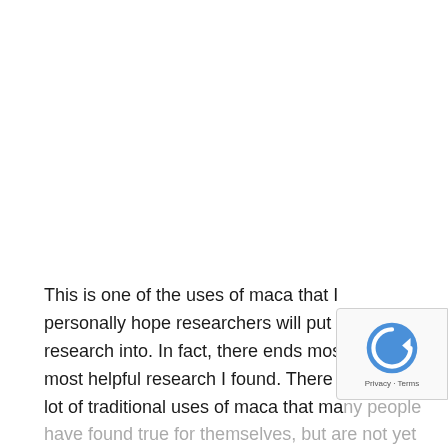This is one of the uses of maca that I personally hope researchers will put more research into. In fact, there ends most of the most helpful research I found. There are still a lot of traditional uses of maca that many people have found true for themselves, but are not yet studied.